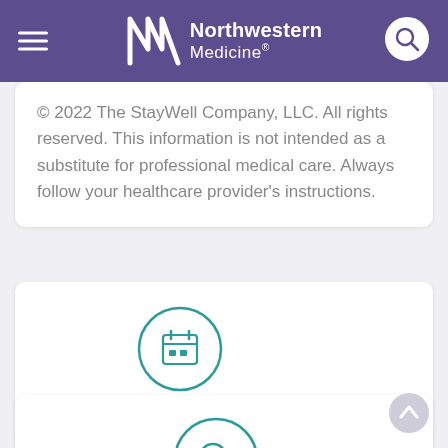Northwestern Medicine
© 2022 The StayWell Company, LLC. All rights reserved. This information is not intended as a substitute for professional medical care. Always follow your healthcare provider's instructions.
[Figure (illustration): Teal circle icon with a calendar symbol inside, labeled 'Request Appointment']
[Figure (illustration): Teal circle icon with a magnifying glass symbol inside, labeled 'Find Doctors']